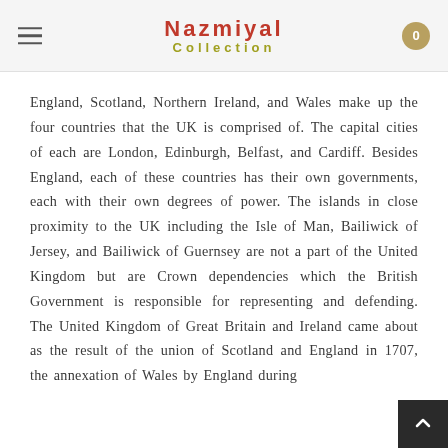Nazmiyal Collection
England, Scotland, Northern Ireland, and Wales make up the four countries that the UK is comprised of. The capital cities of each are London, Edinburgh, Belfast, and Cardiff. Besides England, each of these countries has their own governments, each with their own degrees of power. The islands in close proximity to the UK including the Isle of Man, Bailiwick of Jersey, and Bailiwick of Guernsey are not a part of the United Kingdom but are Crown dependencies which the British Government is responsible for representing and defending. The United Kingdom of Great Britain and Ireland came about as the result of the union of Scotland and England in 1707, the annexation of Wales by England during